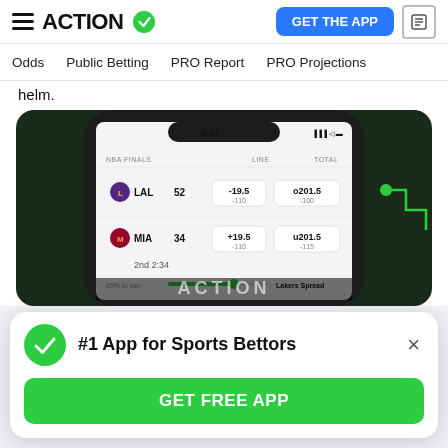ACTION [checkmark] — GET THE APP [news icon]
Odds  Public Betting  PRO Report  PRO Projections
helm.
[Figure (screenshot): Mobile phone screenshot showing the Action Network app with NBA Finals odds: LAL 52 (-19.5 -110, o201.5 -100) vs MIA 34 (+19.5 -110, u201.5 -115), 2nd 2:34, 65% to win Lakers Spread]
#1 App for Sports Bettors
GET FREE APP